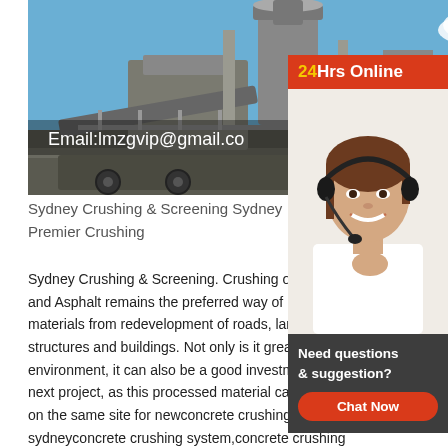[Figure (photo): Industrial crushing and screening machinery on a truck/mobile platform, photographed outdoors against a blue sky. Equipment includes a large cone crusher and conveyor belts. Text overlay reads 'Email:lmzgvip@gmail.co']
[Figure (photo): Customer service representative woman wearing a headset, smiling. Has a '24Hrs Online' red banner above and a 'Need questions & suggestion? Chat Now' gray box below.]
Sydney Crushing & Screening Sydney Premier Crushing
Sydney Crushing & Screening. Crushing of Concrete and Asphalt remains the preferred way of re... materials from redevelopment of roads, large structures and buildings. Not only is it great for the environment, it can also be a good investment for your next project, as this processed material can be reused on the same site for newconcrete crushing sydneyconcrete crushing system,concrete crushing system . Concrete Waste Crushing System . 2 Types of Concrete Crushers . Aug 01, 2019 In view of the characteristics of concrete waste, Henan Machinery designed a concrete crushing equipment-mobile